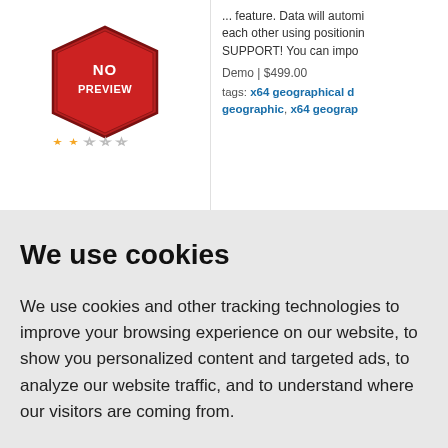[Figure (screenshot): Product listing with no-preview badge image and star rating (2 out of 5 stars)]
... feature. Data will automi each other using positionin SUPPORT! You can impo
Demo | $499.00
tags: x64 geographical d geographic , x64 geograp
We use cookies
We use cookies and other tracking technologies to improve your browsing experience on our website, to show you personalized content and targeted ads, to analyze our website traffic, and to understand where our visitors are coming from.
I agree
Change my preferences